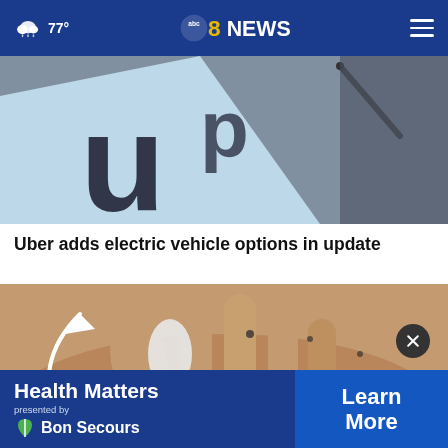abc8NEWS — 77°
[Figure (photo): Close-up of Uber app on a phone or tablet, showing letters 'up' in large text, with a stylus or pen visible in the background]
Uber adds electric vehicle options in update
[Figure (photo): Close-up of a hand with a white curved arrow overlay, suggesting a phone with wireless earbuds or a medical/tech graphic]
[Figure (screenshot): Health Matters presented by Bon Secours advertisement banner with Learn More button and close X button]